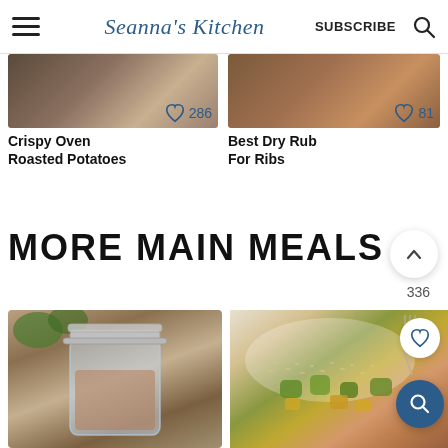Seanna's Kitchen | SUBSCRIBE
[Figure (photo): Crispy Oven Roasted Potatoes recipe thumbnail with heart icon showing 286 likes]
Crispy Oven Roasted Potatoes
[Figure (photo): Best Dry Rub For Ribs recipe thumbnail with heart icon showing 81 likes]
Best Dry Rub For Ribs
MORE MAIN MEALS
336
[Figure (photo): Mason jar with dry rub spice mixture inside]
[Figure (photo): Rice and vegetable dish with avocado and cheese toppings on a white plate with fork]